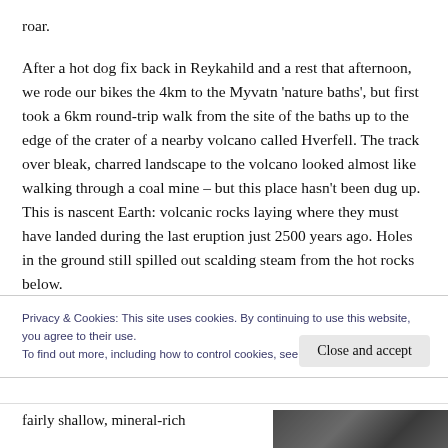roar.
After a hot dog fix back in Reykahild and a rest that afternoon, we rode our bikes the 4km to the Myvatn 'nature baths', but first took a 6km round-trip walk from the site of the baths up to the edge of the crater of a nearby volcano called Hverfell. The track over bleak, charred landscape to the volcano looked almost like walking through a coal mine – but this place hasn't been dug up. This is nascent Earth: volcanic rocks laying where they must have landed during the last eruption just 2500 years ago. Holes in the ground still spilled out scalding steam from the hot rocks below.
Privacy & Cookies: This site uses cookies. By continuing to use this website, you agree to their use.
To find out more, including how to control cookies, see here: Cookie Policy
Close and accept
fairly shallow, mineral-rich
[Figure (photo): Partial photo visible at bottom right, appears to show a dark rocky or natural landscape]